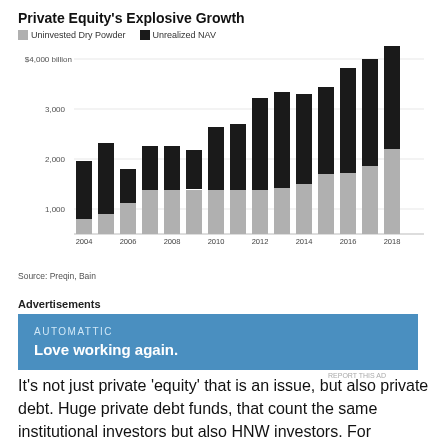[Figure (stacked-bar-chart): Private Equity's Explosive Growth]
Source: Preqin, Bain
Advertisements
[Figure (other): Advertisement banner for Automattic with text 'Love working again.']
It’s not just private ‘equity’ that is an issue, but also private debt. Huge private debt funds, that count the same institutional investors but also HNW investors. For